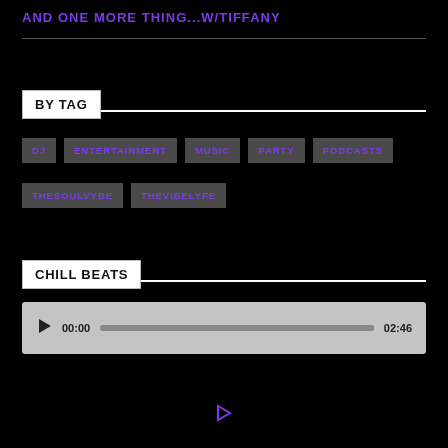AND ONE MORE THING...W/TIFFANY
BY TAG
DJ
ENTERTAINMENT
MUSIC
PARTY
PODCASTS
THESOULVYBE
THEVIBELYFE
CHILL BEATS
[Figure (other): Audio player with play button, progress bar showing 00:00 to 02:46]